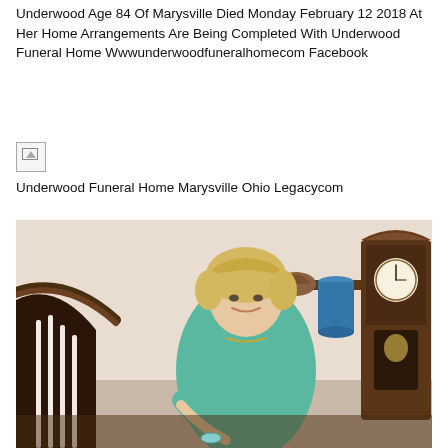Underwood Age 84 Of Marysville Died Monday February 12 2018 At Her Home Arrangements Are Being Completed With Underwood Funeral Home Wwwunderwoodfuneralhomecom Facebook
[Figure (photo): Small broken/placeholder image icon]
Underwood Funeral Home Marysville Ohio Legacycom
[Figure (photo): Portrait photo of a middle-aged woman with short blonde hair wearing a mint/teal long-sleeve top, smiling and leaning on a wooden staircase railing. A grandfather clock is visible in the background.]